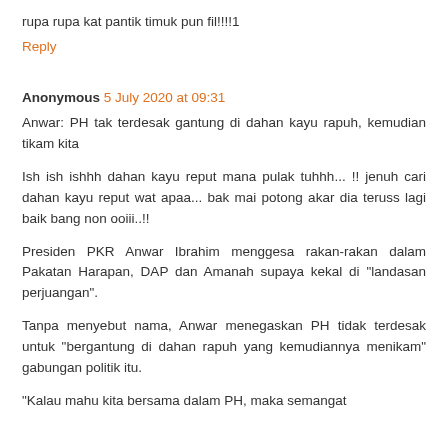rupa rupa kat pantik timuk pun fil!!!!1
Reply
Anonymous 5 July 2020 at 09:31
Anwar: PH tak terdesak gantung di dahan kayu rapuh, kemudian tikam kita
Ish ish ishhh dahan kayu reput mana pulak tuhhh... !! jenuh cari dahan kayu reput wat apaa... bak mai potong akar dia teruss lagi baik bang non ooiii..!!
Presiden PKR Anwar Ibrahim menggesa rakan-rakan dalam Pakatan Harapan, DAP dan Amanah supaya kekal di "landasan perjuangan".
Tanpa menyebut nama, Anwar menegaskan PH tidak terdesak untuk "bergantung di dahan rapuh yang kemudiannya menikam" gabungan politik itu.
"Kalau mahu kita bersama dalam PH, maka semangat